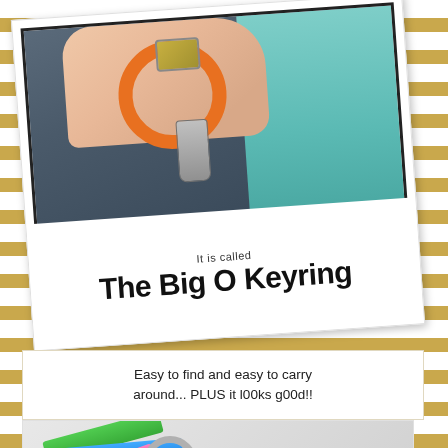[Figure (photo): Polaroid-style photo of a hand holding an orange O-ring keyring with keys dangling, against jeans and a teal bag background. Text on the polaroid reads 'It is called' and 'The Big O Keyring']
Easy to find and easy to carry around... PLUS it l00ks g00d!!
[Figure (photo): Bottom partial photo showing colorful O-ring keyrings (green, blue, pink) with a metal clasp ring]